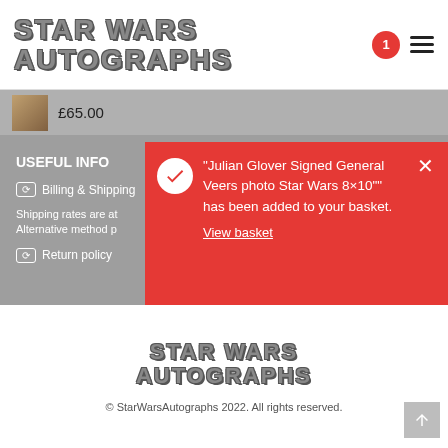[Figure (screenshot): Star Wars Autographs website header with logo, cart badge showing 1, and hamburger menu icon]
£65.00
USEFUL INFO
Billing & Shipping
Shipping rates are at... Alternative method p...
Return policy
"Julian Glover Signed General Veers photo Star Wars 8×10"" has been added to your basket.
View basket
[Figure (logo): Star Wars Autographs logo repeated in footer]
© StarWarsAutographs 2022. All rights reserved.